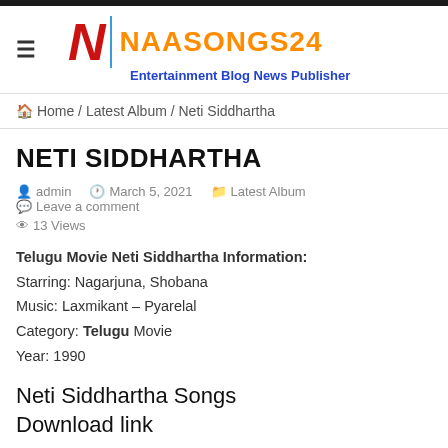NAASONGS24 - Entertainment Blog News Publisher
Home / Latest Album / Neti Siddhartha
NETI SIDDHARTHA
admin   March 5, 2021   Latest Album   Leave a comment   13 Views
Telugu Movie Neti Siddhartha Information:
Starring: Nagarjuna, Shobana
Music: Laxmikant – Pyarelal
Category: Telugu Movie
Year: 1990
Neti Siddhartha Songs Download link